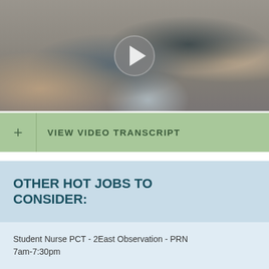[Figure (photo): Video thumbnail showing healthcare workers/nurses seated in a clinical setting having a discussion, with a play button overlay in the center.]
+ VIEW VIDEO TRANSCRIPT
OTHER HOT JOBS TO CONSIDER:
Student Nurse PCT - 2East Observation - PRN 7am-7:30pm